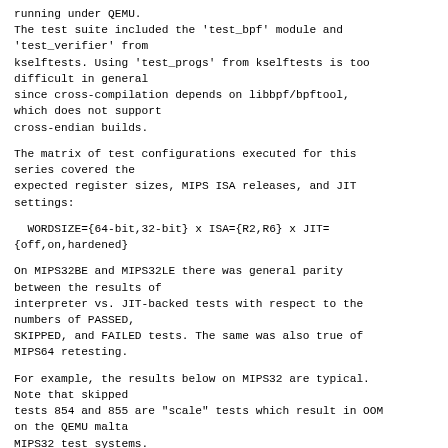running under QEMU.
The test suite included the 'test_bpf' module and 'test_verifier' from
kselftests. Using 'test_progs' from kselftests is too difficult in general
since cross-compilation depends on libbpf/bpftool, which does not support
cross-endian builds.
The matrix of test configurations executed for this series covered the
expected register sizes, MIPS ISA releases, and JIT settings:
WORDSIZE={64-bit,32-bit} x ISA={R2,R6} x JIT=
{off,on,hardened}
On MIPS32BE and MIPS32LE there was general parity between the results of
interpreter vs. JIT-backed tests with respect to the numbers of PASSED,
SKIPPED, and FAILED tests. The same was also true of MIPS64 retesting.
For example, the results below on MIPS32 are typical. Note that skipped
tests 854 and 855 are "scale" tests which result in OOM on the QEMU malta
MIPS32 test systems.